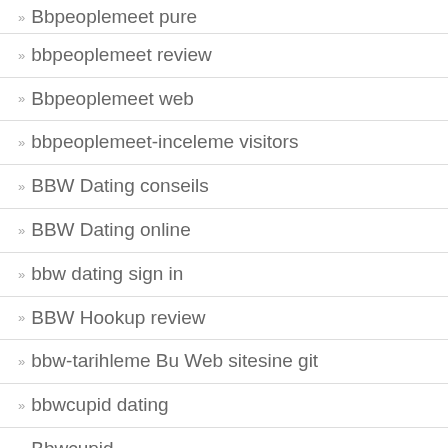bbpeoplemeet review
Bbpeoplemeet web
bbpeoplemeet-inceleme visitors
BBW Dating conseils
BBW Dating online
bbw dating sign in
BBW Hookup review
bbw-tarihleme Bu Web sitesine git
bbwcupid dating
Bbwcupid…